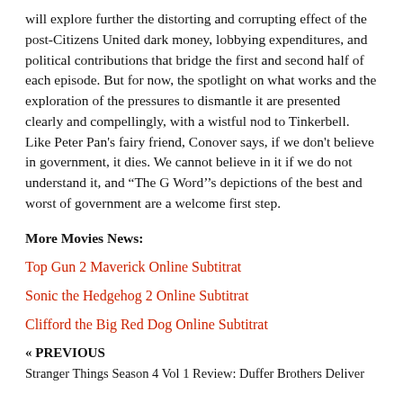will explore further the distorting and corrupting effect of the post-Citizens United dark money, lobbying expenditures, and political contributions that bridge the first and second half of each episode. But for now, the spotlight on what works and the exploration of the pressures to dismantle it are presented clearly and compellingly, with a wistful nod to Tinkerbell. Like Peter Pan's fairy friend, Conover says, if we don't believe in government, it dies. We cannot believe in it if we do not understand it, and “The G Word’’s depictions of the best and worst of government are a welcome first step.
More Movies News:
Top Gun 2 Maverick Online Subtitrat
Sonic the Hedgehog 2 Online Subtitrat
Clifford the Big Red Dog Online Subtitrat
« PREVIOUS
Stranger Things Season 4 Vol 1 Review: Duffer Brothers Deliver